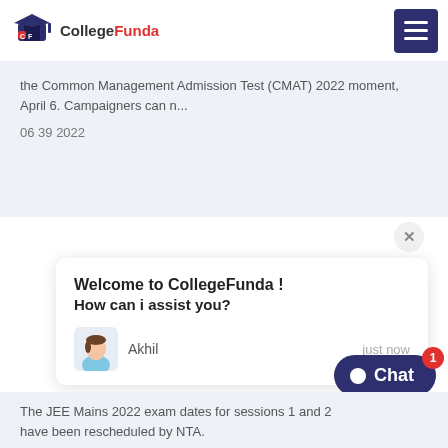CollegeFunda
the Common Management Admission Test (CMAT) 2022 moment, April 6. Campaigners can n...
06 39 2022
Welcome to CollegeFunda !
How can i assist you?
Akhil   just now
The JEE Mains 2022 exam dates for sessions 1 and 2 have been rescheduled by NTA.